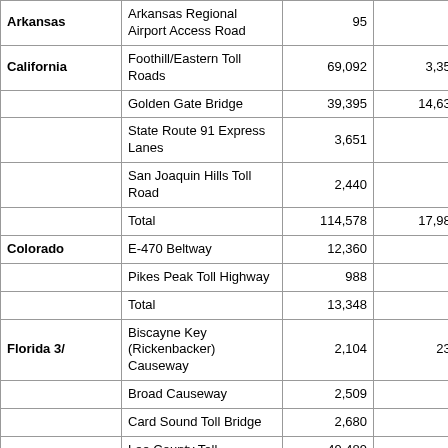| State | Facility | Col3 | Col4 | Col5 |
| --- | --- | --- | --- | --- |
| Arkansas | Arkansas Regional Airport Access Road | 95 | - | - |
| California | Foothill/Eastern Toll Roads | 69,092 | 3,350 | 14, |
|  | Golden Gate Bridge | 39,395 | 14,632 | 20, |
|  | State Route 91 Express Lanes | 3,651 | - | 10, |
|  | San Joaquin Hills Toll Road | 2,440 | - | 10, |
|  | Total | 114,578 | 17,982 | 56, |
| Colorado | E-470 Beltway | 12,360 | - | 28, |
|  | Pikes Peak Toll Highway | 988 | - | 1, |
|  | Total | 13,348 | - | 30, |
| Florida 3/ | Biscayne Key (Rickenbacker) Causeway | 2,104 | 235 | 3, |
|  | Broad Causeway | 2,509 | - | 1, |
|  | Card Sound Toll Bridge | 2,680 | - |  |
|  | Lee County Toll | 49,489 | - | 4 |